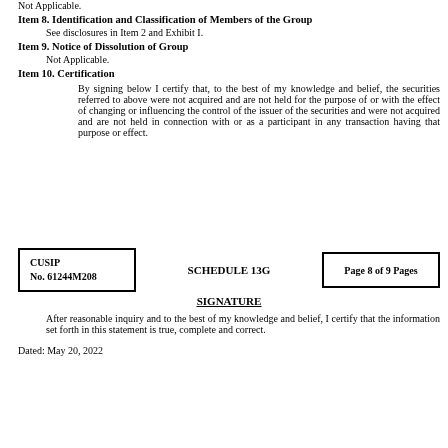Not Applicable.
Item 8. Identification and Classification of Members of the Group
See disclosures in Item 2 and Exhibit I.
Item 9. Notice of Dissolution of Group
Not Applicable.
Item 10. Certification
By signing below I certify that, to the best of my knowledge and belief, the securities referred to above were not acquired and are not held for the purpose of or with the effect of changing or influencing the control of the issuer of the securities and were not acquired and are not held in connection with or as a participant in any transaction having that purpose or effect.
| CUSIP
No. 61244M208 | SCHEDULE 13G | Page 8 of 9 Pages |
SIGNATURE
After reasonable inquiry and to the best of my knowledge and belief, I certify that the information set forth in this statement is true, complete and correct.
Dated: May 20, 2022